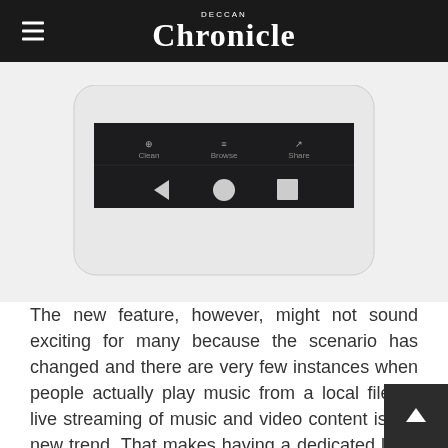Deccan Chronicle
[Figure (screenshot): Partial screenshot of a mobile music/video player app showing a dark control bar with Clean, Browse, Share icons and playback controls (back, play/pause, stop), on a light grey phone body background.]
The new feature, however, might not sound exciting for many because the scenario has changed and there are very few instances when people actually play music from a local file as live streaming of music and video content is the new trend. That makes having a dedicated local music or video playing app pretty unnecessary. The company has introduced the upgradation at a time when existing Google Play